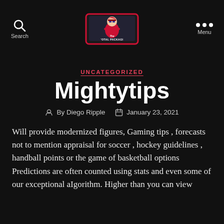Search | The Total Package | Menu
UNCATEGORIZED
Mightytips
By Diego Ripple   January 23, 2021
Will provide modernized figures, Gaming tips , forecasts not to mention appraisal for soccer , hockey guidelines , handball points or the game of basketball options Predictions are often counted using stats and even some of our exceptional aIgorithm. Higher than you can view